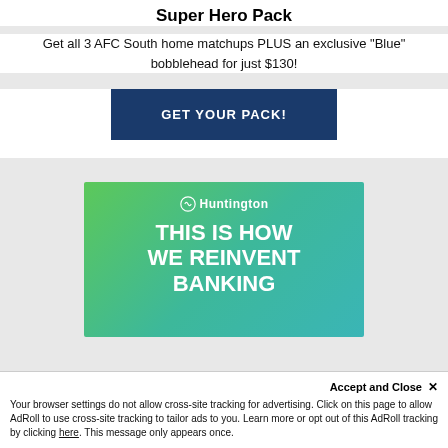Super Hero Pack
Get all 3 AFC South home matchups PLUS an exclusive "Blue" bobblehead for just $130!
GET YOUR PACK!
[Figure (illustration): Huntington Bank advertisement with green to teal gradient background, Huntington logo, and text reading THIS IS HOW WE REINVENT BANKING]
Accept and Close ×
Your browser settings do not allow cross-site tracking for advertising. Click on this page to allow AdRoll to use cross-site tracking to tailor ads to you. Learn more or opt out of this AdRoll tracking by clicking here. This message only appears once.